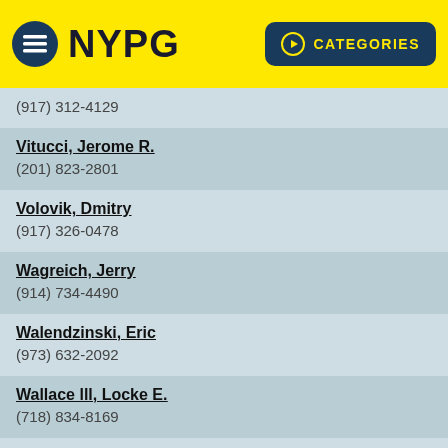NYPG  CATEGORIES
(917) 312-4129
Vitucci, Jerome R.
(201) 823-2801
Volovik, Dmitry
(917) 326-0478
Wagreich, Jerry
(914) 734-4490
Walendzinski, Eric
(973) 632-2092
Wallace lll, Locke E.
(718) 834-8169
Wasserman, Karl G.E.
(646) 418-3484